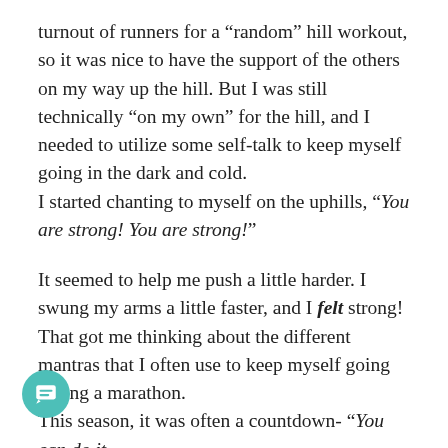turnout of runners for a “random” hill workout, so it was nice to have the support of the others on my way up the hill. But I was still technically “on my own” for the hill, and I needed to utilize some self-talk to keep myself going in the dark and cold.
I started chanting to myself on the uphills, “You are strong! You are strong!”
It seemed to help me push a little harder. I swung my arms a little faster, and I felt strong!
That got me thinking about the different mantras that I often use to keep myself going during a marathon.
This season, it was often a countdown- “You can do it, only 12 more miles. You are strong. You are strong.” “You can do it, only 11 more miles. You are